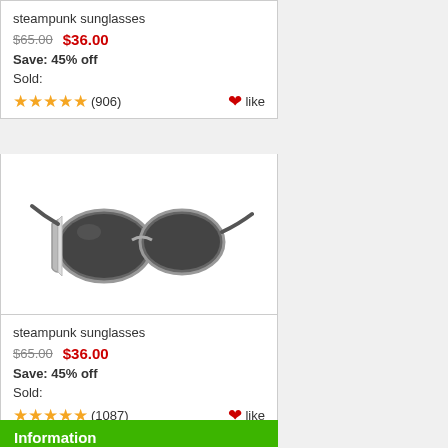steampunk sunglasses
$65.00  $36.00
Save: 45% off
Sold:
★★★★★ (906)  ♥like
[Figure (photo): Steampunk sunglasses with round dark lenses, metal side shields, and thin metal arms, shown at an angle on white background]
steampunk sunglasses
$65.00  $36.00
Save: 45% off
Sold:
★★★★★ (1087)  ♥like
Information
Shipping & Returns